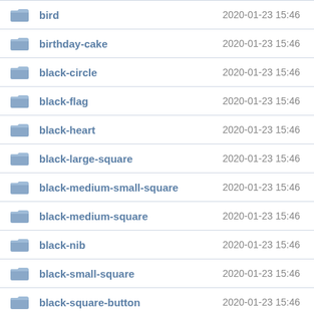| Name | Date |
| --- | --- |
| bird | 2020-01-23 15:46 |
| birthday-cake | 2020-01-23 15:46 |
| black-circle | 2020-01-23 15:46 |
| black-flag | 2020-01-23 15:46 |
| black-heart | 2020-01-23 15:46 |
| black-large-square | 2020-01-23 15:46 |
| black-medium-small-square | 2020-01-23 15:46 |
| black-medium-square | 2020-01-23 15:46 |
| black-nib | 2020-01-23 15:46 |
| black-small-square | 2020-01-23 15:46 |
| black-square-button | 2020-01-23 15:46 |
| blossom | 2020-01-23 15:46 |